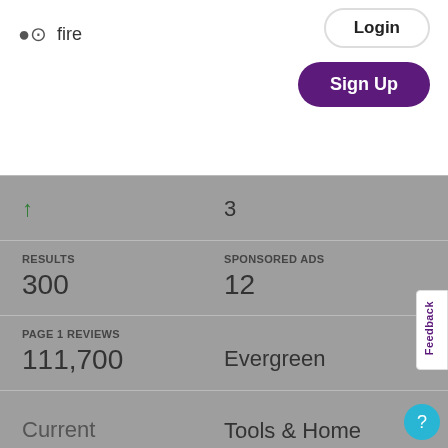[Figure (screenshot): Search bar with text 'fire', US flag dropdown, arrow, Login button and Sign Up button in top navigation bar]
↑
3
RESULTS
300
SPONSORED ADS
12
PAGE 1 REVIEWS
111,700
Evergreen
Current
Tools & Home Improvement